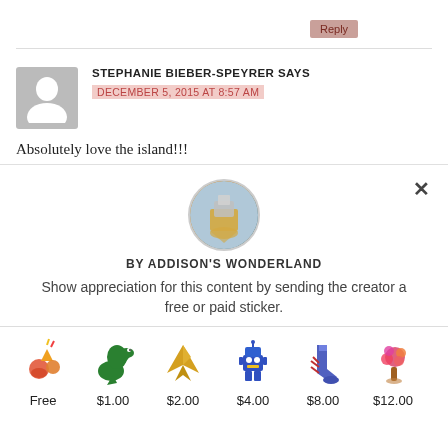Reply
STEPHANIE BIEBER-SPEYRER SAYS
DECEMBER 5, 2015 AT 8:57 AM
Absolutely love the island!!!
[Figure (infographic): Sticker popup widget by Addison's Wonderland with circular avatar image, close button, description text, and sticker options: Free, $1.00, $2.00, $4.00, $8.00, $12.00]